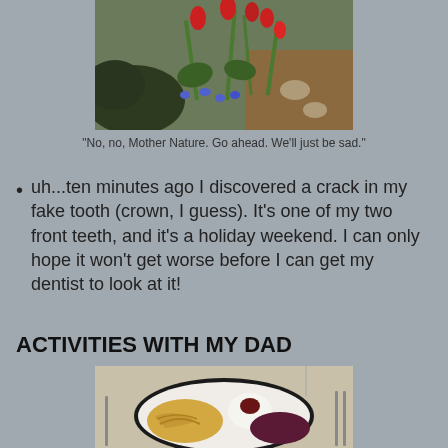[Figure (photo): Garden photo showing red tulips and blue flowers along a stone path]
"No, no, Mother Nature. Go ahead. We'll just be sad."
uh...ten minutes ago I discovered a crack in my fake tooth (crown, I guess). It's one of my two front teeth, and it's a holiday weekend. I can only hope it won't get worse before I can get my dentist to look at it!
ACTIVITIES WITH MY DAD
[Figure (photo): Food photo showing a plate with pasta and vegetables on a dinner table]